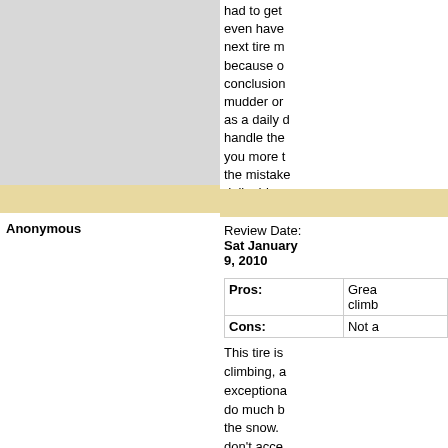had to get even have next tire m because o conclusion mudder or as a daily handle the you more t the mistak daily drive
Anonymous
Review Date: Sat January 9, 2010
|  |  |
| --- | --- |
| Pros: | Grea climb |
| Cons: | Not a |
This tire is climbing, a exceptiona do much b the snow. don't acce recomme aligment w on if you p highway T